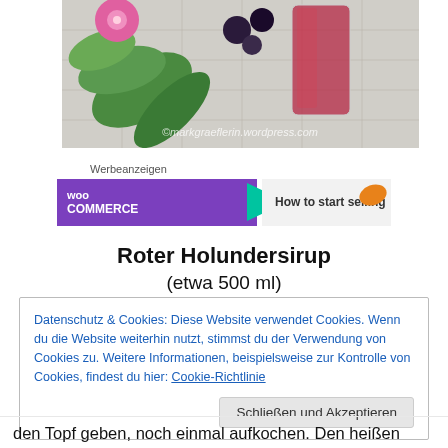[Figure (photo): Photo of red elderberry syrup in a glass with green leaves and pink flowers on a checkered background, watermark: ©markgraeflerin.wordpress.com]
Werbeanzeigen
[Figure (screenshot): WooCommerce advertisement banner: purple background with WooCommerce logo, teal arrow, text 'How to start selling' with orange leaf icon]
Roter Holundersirup
(etwa 500 ml)
Datenschutz & Cookies: Diese Website verwendet Cookies. Wenn du die Website weiterhin nutzt, stimmst du der Verwendung von Cookies zu. Weitere Informationen, beispielsweise zur Kontrolle von Cookies, findest du hier: Cookie-Richtlinie
Schließen und Akzeptieren
den Topf geben, noch einmal aufkochen. Den heißen